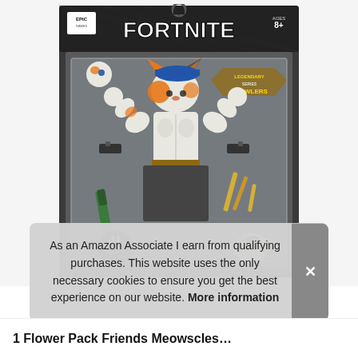[Figure (photo): Fortnite Legendary Series Brawlers action figure in packaging. The figure has a cat/fox head with orange and white fur, muscular body in white top and dark pants. The box is dark with FORTNITE logo and EPIC GAMES branding. Ages 8+. The packaging shows the figure with accessories including pistols, knives, and other items. A badge reads '41 POINTS OF' (articulation). A smaller figure pose is shown bottom right of the packaging.]
As an Amazon Associate I earn from qualifying purchases. This website uses the only necessary cookies to ensure you get the best experience on our website. More information
1 Flower Pack Friends Meowscles...